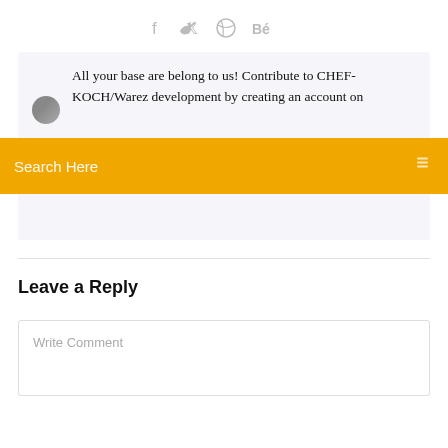[Figure (other): Social media icons: Facebook (f), Twitter bird, Dribbble, Behance (Bé)]
All your base are belong to us! Contribute to CHEF-KOCH/Warez development by creating an account on
Search Here
Leave a Reply
Write Comment